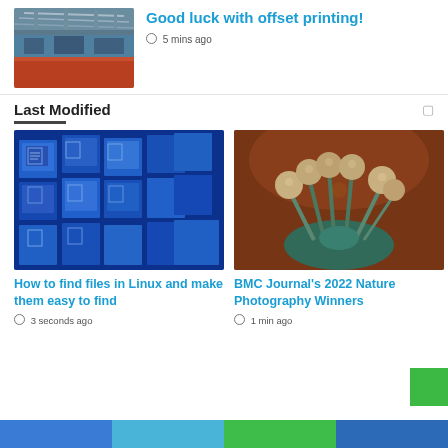[Figure (photo): Industrial printing facility with overhead machinery and orange floor]
Good luck with offset printing!
🕐 5 mins ago
Last Modified
[Figure (photo): 3D blue document file icons arranged in a wall pattern]
How to find files in Linux and make them easy to find
🕐 3 seconds ago
[Figure (photo): Macro photograph of a fungal or plant organism against a warm brown background]
BMC Journal's 2022 Nature Photography Winners
🕐 1 min ago